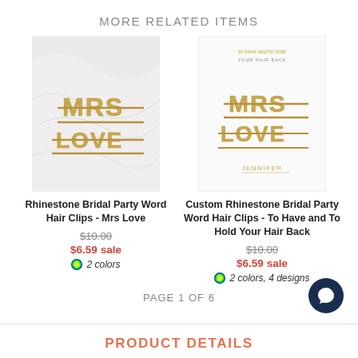MORE RELATED ITEMS
[Figure (photo): Hair clip product image - Mrs Love rhinestone word clips on marble background]
Rhinestone Bridal Party Word Hair Clips - Mrs Love
$10.00
$6.59 sale
2 colors
[Figure (photo): Custom rhinestone hair clip product on white card packaging labeled JENNIFER]
Custom Rhinestone Bridal Party Word Hair Clips - To Have and To Hold Your Hair Back
$10.00
$6.59 sale
2 colors, 4 designs
PAGE 1 OF 6
PRODUCT DETAILS